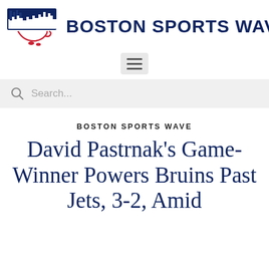BOSTON SPORTS WAVE
BOSTON SPORTS WAVE
David Pastrnak's Game-Winner Powers Bruins Past Jets, 3-2, Amid